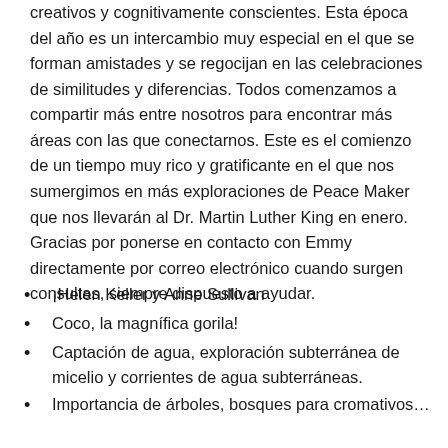creativos y cognitivamente conscientes. Esta época del año es un intercambio muy especial en el que se forman amistades y se regocijan en las celebraciones de similitudes y diferencias. Todos comenzamos a compartir más entre nosotros para encontrar más áreas con las que conectarnos. Este es el comienzo de un tiempo muy rico y gratificante en el que nos sumergimos en más exploraciones de Peace Maker que nos llevarán al Dr. Martin Luther King en enero. Gracias por ponerse en contacto con Emmy directamente por correo electrónico cuando surgen consultas, siempre dispuesto a ayudar.
¡Helen Keller y Anne Sullivan
Coco, la magnífica gorila!
Captación de agua, exploración subterránea de micelio y corrientes de agua subterráneas.
Importancia de árboles, bosques para cromativos…